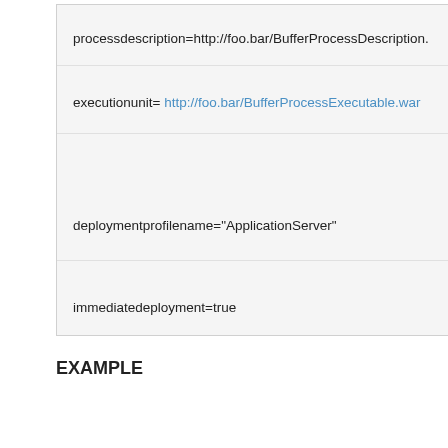processdescription=http://foo.bar/BufferProcessDescription.
executionunit= http://foo.bar/BufferProcessExecutable.war
deploymentprofilename="ApplicationServer"
immediatedeployment=true
EXAMPLE